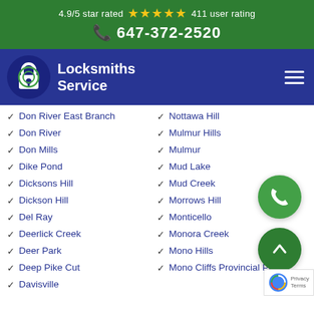4.9/5 star rated ★★★★★ 411 user rating
☎ 647-372-2520
[Figure (logo): Locksmiths Service logo with padlock icon on dark blue background with hamburger menu]
Don River East Branch
Don River
Don Mills
Dike Pond
Dicksons Hill
Dickson Hill
Del Ray
Deerlick Creek
Deer Park
Deep Pike Cut
Davisville
Nottawa Hill
Mulmur Hills
Mulmur
Mud Lake
Mud Creek
Morrows Hill
Monticello
Monora Creek
Mono Hills
Mono Cliffs Provincial Park